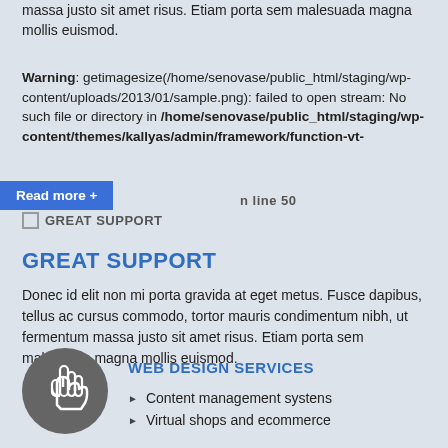massa justo sit amet risus. Etiam porta sem malesuada magna mollis euismod.
Warning: getimagesize(/home/senovase/public_html/staging/wp-content/uploads/2013/01/sample.png): failed to open stream: No such file or directory in /home/senovase/public_html/staging/wp-content/themes/kallyas/admin/framework/function-vt- on line 50
Read more +
GREAT SUPPORT
GREAT SUPPORT
Donec id elit non mi porta gravida at eget metus. Fusce dapibus, tellus ac cursus commodo, tortor mauris condimentum nibh, ut fermentum massa justo sit amet risus. Etiam porta sem malesuada magna mollis euismod.
[Figure (illustration): Gray circular icon with white hand/pointer finger symbol]
WEB DESIGN SERVICES
Content management systens
Virtual shops and ecommerce